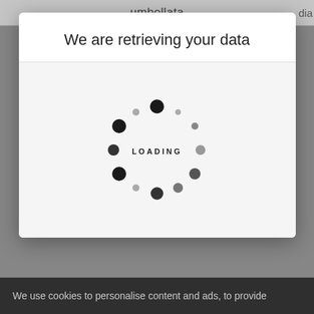umbellata
dia
[Figure (screenshot): Loading modal dialog with title 'We are retrieving your data' and an animated spinner showing 'LOADING' text in the center]
First  Prev  Next  Last
Simple search  |  Amend search
[Figure (logo): Kew Science logo - Royal Botanic Gardens Kew Science wordmark with bold serif K and italic science text]
We use cookies to personalise content and ads, to provide